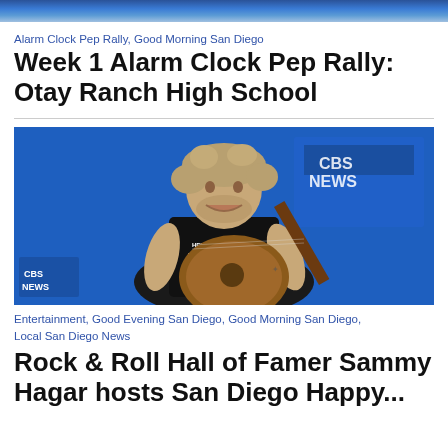[Figure (photo): Top banner image with blue tones, partial view]
Alarm Clock Pep Rally, Good Morning San Diego
Week 1 Alarm Clock Pep Rally: Otay Ranch High School
[Figure (photo): Man with gray-blonde curly hair playing an acoustic guitar, smiling, wearing a black t-shirt that reads HERE'S YOUR BEACH, in a TV studio with blue CBS NEWS backdrop]
Entertainment, Good Evening San Diego, Good Morning San Diego, Local San Diego News
Rock & Roll Hall of Famer Sammy Hagar hosts San Diego Happy...